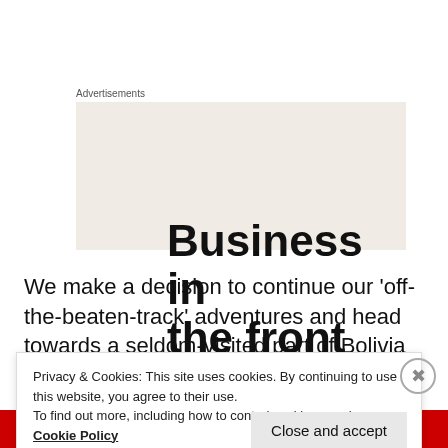Advertisements
[Figure (other): Advertisement banner with text 'Business in the front' on a light beige background]
We make a decision to continue our ‘off-the-beaten-track’ adventures and head towards a seldom-visited part of Bolivia and a little-used border crossing into Chile. As we head out on the highway, several
Privacy & Cookies: This site uses cookies. By continuing to use this website, you agree to their use.
To find out more, including how to control cookies, see here:
Cookie Policy
Close and accept